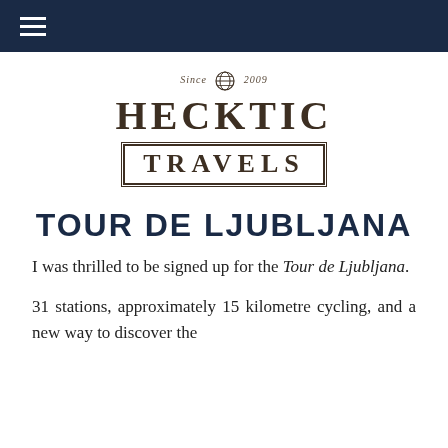≡ (navigation menu)
[Figure (logo): Hecktic Travels logo with globe icon, 'Since 2009', bold HECKTIC text, and TRAVELS in a double-bordered box]
TOUR DE LJUBLJANA
I was thrilled to be signed up for the Tour de Ljubljana.
31 stations, approximately 15 kilometres of cycling, and a new way to discover the